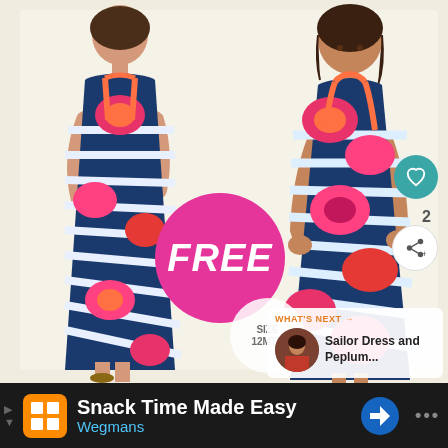[Figure (photo): Two views of a girl wearing a floral striped racerback dress, one from the back and one from the front. The dress features a blue and white striped pattern with large pink/orange floral print. An orange racerback neckline accent is visible. A pink circular badge reading FREE is overlaid on the left photo. A size label partially visible at bottom reads SIZE 12MTS. A teal heart button and share button with count 2 are on the right side.]
FREE
SIZE
12MTS
WHAT'S NEXT →
Sailor Dress and Peplum...
2
Snack Time Made Easy
Wegmans